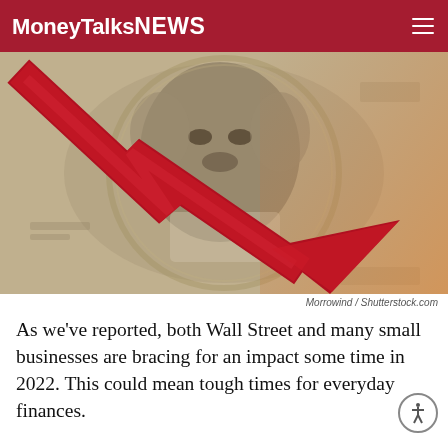MoneyTalksNews
[Figure (photo): A $100 bill featuring Benjamin Franklin with a large red downward-trending arrow chart overlaid on top, symbolizing financial decline. The right side has an orange warm glow effect.]
Morrowind / Shutterstock.com
As we've reported, both Wall Street and many small businesses are bracing for an impact some time in 2022. This could mean tough times for everyday finances.